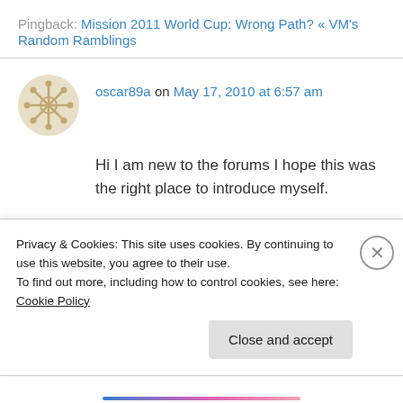Pingback: Mission 2011 World Cup: Wrong Path? « VM's Random Ramblings
oscar89a on May 17, 2010 at 6:57 am
Hi I am new to the forums I hope this was the right place to introduce myself.
so yeah I just wanted to say hi
Privacy & Cookies: This site uses cookies. By continuing to use this website, you agree to their use.
To find out more, including how to control cookies, see here: Cookie Policy